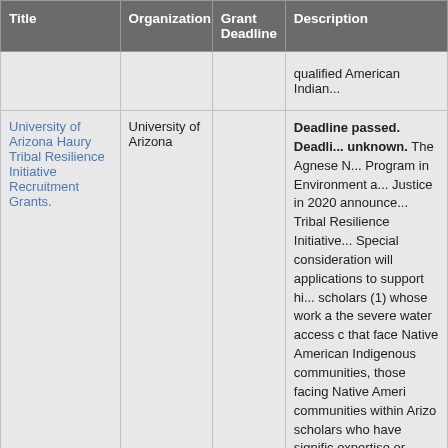| Title | Organization | Grant Deadline | Description |
| --- | --- | --- | --- |
|  |  |  | qualified American Indian... |
| University of Arizona Haury Tribal Resilience Initiative Recruitment Grants. | University of Arizona |  | Deadline passed. Deadline unknown. The Agnese N... Program in Environment and Justice in 2020 announced Tribal Resilience Initiative... Special consideration will applications to support hi... scholars (1) whose work a the severe water access c that face Native American Indigenous communities, those facing Native Ameri communities within Arizo scholars who have signifi expertise or experience th tribal customs and govern traditional knowledge, and approaching resilience ch Native American and Indig communities that respect Haury Program will award |